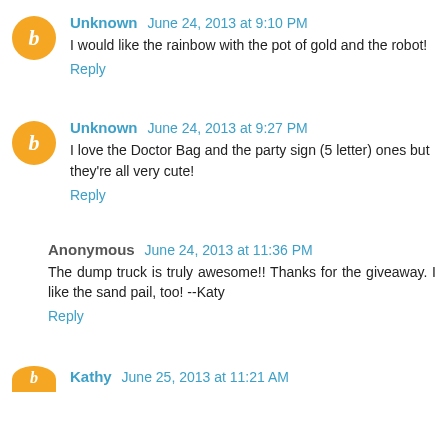Unknown June 24, 2013 at 9:10 PM
I would like the rainbow with the pot of gold and the robot!
Reply
Unknown June 24, 2013 at 9:27 PM
I love the Doctor Bag and the party sign (5 letter) ones but they're all very cute!
Reply
Anonymous June 24, 2013 at 11:36 PM
The dump truck is truly awesome!! Thanks for the giveaway. I like the sand pail, too! --Katy
Reply
Kathy June 25, 2013 at 11:21 AM